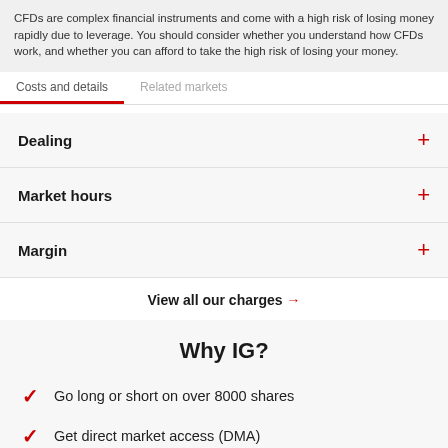CFDs are complex financial instruments and come with a high risk of losing money rapidly due to leverage. You should consider whether you understand how CFDs work, and whether you can afford to take the high risk of losing your money.
Costs and details
Related markets
Dealing
Market hours
Margin
View all our charges →
Why IG?
Go long or short on over 8000 shares
Get direct market access (DMA)